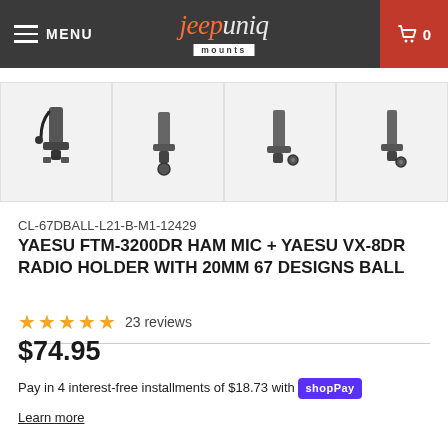MENU | jeepuniq mounts | 0
[Figure (photo): Four thumbnail images of a ham mic and radio holder mount product shown from different angles against a light gray background]
CL-67DBALL-L21-B-M1-12429
YAESU FTM-3200DR HAM MIC + YAESU VX-8DR RADIO HOLDER WITH 20MM 67 DESIGNS BALL
★★★★★ 23 reviews
$74.95
Pay in 4 interest-free installments of $18.73 with Shop Pay
Learn more